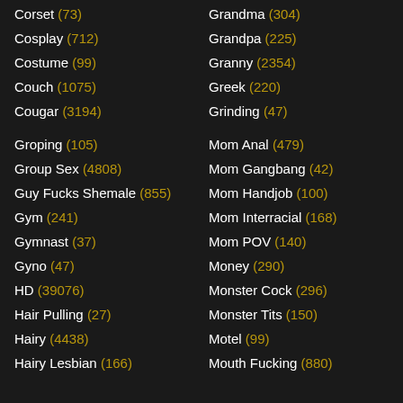Corset (73)
Grandma (304)
Cosplay (712)
Grandpa (225)
Costume (99)
Granny (2354)
Couch (1075)
Greek (220)
Cougar (3194)
Grinding (47)
Groping (105)
Mom Anal (479)
Group Sex (4808)
Mom Gangbang (42)
Guy Fucks Shemale (855)
Mom Handjob (100)
Gym (241)
Mom Interracial (168)
Gymnast (37)
Mom POV (140)
Gyno (47)
Money (290)
HD (39076)
Monster Cock (296)
Hair Pulling (27)
Monster Tits (150)
Hairy (4438)
Motel (99)
Hairy Lesbian (166)
Mouth Fucking (880)